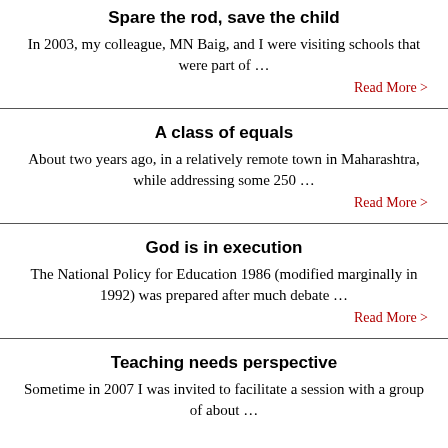Spare the rod, save the child
In 2003, my colleague, MN Baig, and I were visiting schools that were part of …
Read More >
A class of equals
About two years ago, in a relatively remote town in Maharashtra, while addressing some 250  …
Read More >
God is in execution
The National Policy for Education 1986 (modified marginally in 1992) was prepared after much debate …
Read More >
Teaching needs perspective
Sometime in 2007 I was invited to facilitate a session with a group of about …